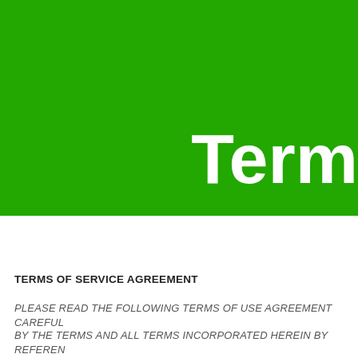[Figure (illustration): Large green banner background covering the top portion of the page]
Term
TERMS OF SERVICE AGREEMENT
PLEASE READ THE FOLLOWING TERMS OF USE AGREEMENT CAREFUL
BY THE TERMS AND ALL TERMS INCORPORATED HEREIN BY REFEREN